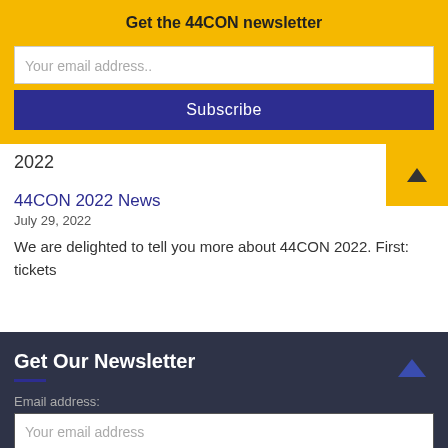Get the 44CON newsletter
Your email address..
Subscribe
2022
44CON 2022 News
July 29, 2022
We are delighted to tell you more about 44CON 2022. First: tickets
Get Our Newsletter
Email address:
Your email address